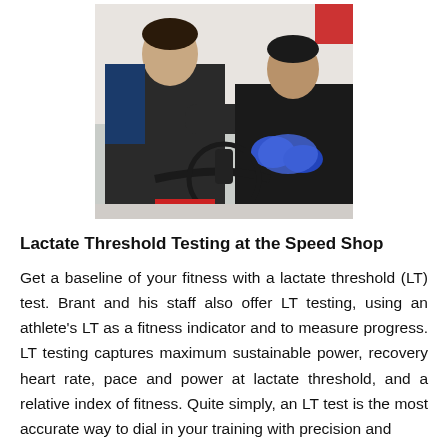[Figure (photo): Two men near a bicycle in an indoor setting. One man wearing a dark cycling kit leans over the bike handlebars while another man in a black t-shirt and shorts, wearing blue gloves, appears to be performing a blood draw or finger prick test on the cyclist.]
Lactate Threshold Testing at the Speed Shop
Get a baseline of your fitness with a lactate threshold (LT) test. Brant and his staff also offer LT testing, using an athlete's LT as a fitness indicator and to measure progress. LT testing captures maximum sustainable power, recovery heart rate, pace and power at lactate threshold, and a relative index of fitness. Quite simply, an LT test is the most accurate way to dial in your training with precision and